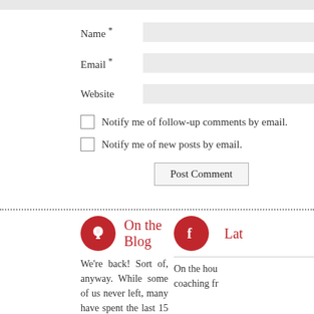Name *
Email *
Website
Notify me of follow-up comments by email.
Notify me of new posts by email.
Post Comment
[Figure (illustration): Red circle icon with megaphone/speaker symbol]
On the Blog
We're back! Sort of, anyway. While some of us never left, many have spent the last 15 months in a WFH status. As offices open and we move on
[Figure (logo): Red circle icon with Facebook 'f' logo]
Lat
On the hou coaching fr